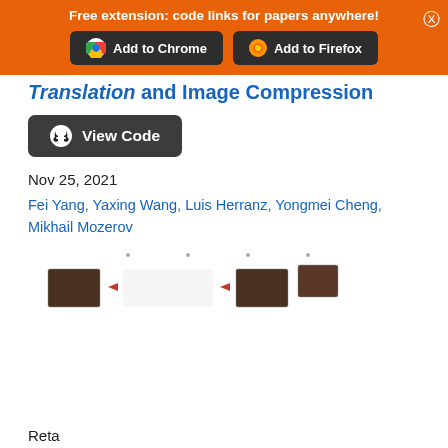Free extension: code links for papers anywhere!
Translation and Image Compression
[Figure (screenshot): View Code button with GitHub icon, dark background]
Nov 25, 2021
Fei Yang, Yaxing Wang, Luis Herranz, Yongmei Cheng, Mikhail Mozerov
[Figure (photo): Partial paper preview images showing face/portrait thumbnails with arrows]
Reta